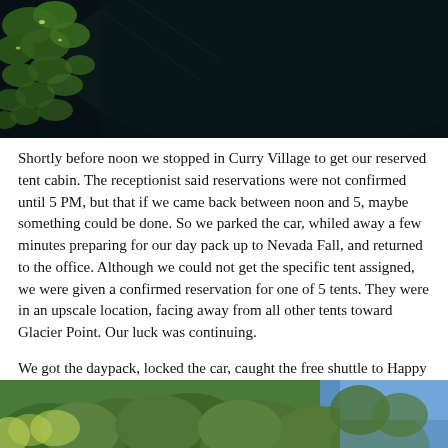[Figure (photo): Dark nature photo showing green leaves and branches against a very dark background, likely taken at night or in deep shade. Sunlight glints visible on some leaves.]
Shortly before noon we stopped in Curry Village to get our reserved tent cabin. The receptionist said reservations were not confirmed until 5 PM, but that if we came back between noon and 5, maybe something could be done. So we parked the car, whiled away a few minutes preparing for our day pack up to Nevada Fall, and returned to the office. Although we could not get the specific tent assigned, we were given a confirmed reservation for one of 5 tents. They were in an upscale location, facing away from all other tents toward Glacier Point. Our luck was continuing.
We got the daypack, locked the car, caught the free shuttle to Happy Isles, and began the hike up the Mist Trail.
[Figure (photo): Outdoor nature photo showing dense green forest trees with blue sky visible in the upper right corner. Tall conifers fill the frame.]